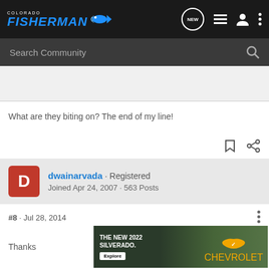COLORADO FISHERMAN
Search Community
What are they biting on? The end of my line!
dwainarvada · Registered
Joined Apr 24, 2007 · 563 Posts
#8 · Jul 28, 2014
Thanks
[Figure (screenshot): Advertisement for THE NEW 2022 SILVERADO. with Explore button and Chevrolet logo]